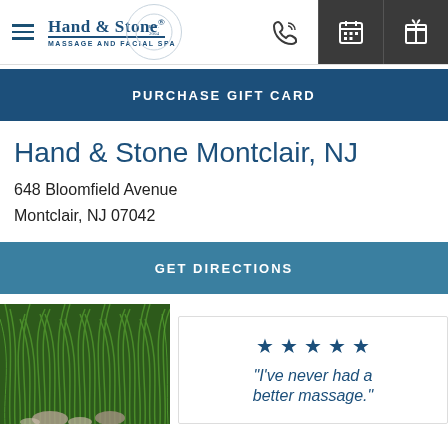[Figure (logo): Hand & Stone Massage and Facial Spa logo with navigation bar including hamburger menu and icons for phone, calendar, and gift]
PURCHASE GIFT CARD
Hand & Stone Montclair, NJ
648 Bloomfield Avenue
Montclair, NJ 07042
GET DIRECTIONS
[Figure (photo): Green grass/plant with stones and a customer review card showing 5 stars and the text: "I've never had a better massage."]